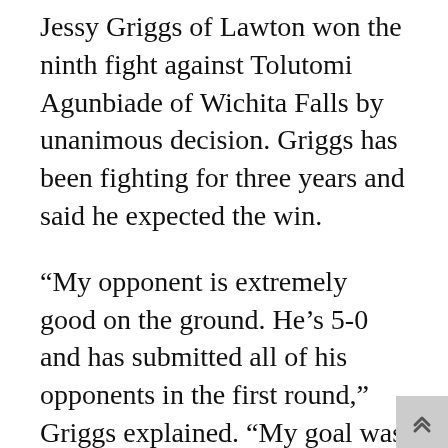Jessy Griggs of Lawton won the ninth fight against Tolutomi Agunbiade of Wichita Falls by unanimous decision. Griggs has been fighting for three years and said he expected the win.
“My opponent is extremely good on the ground. He’s 5-0 and has submitted all of his opponents in the first round,” Griggs explained. “My goal was to keep it standing, take my shot and not get hit.”
The tenth fight marked the first women’s MMA fight in Lawton.